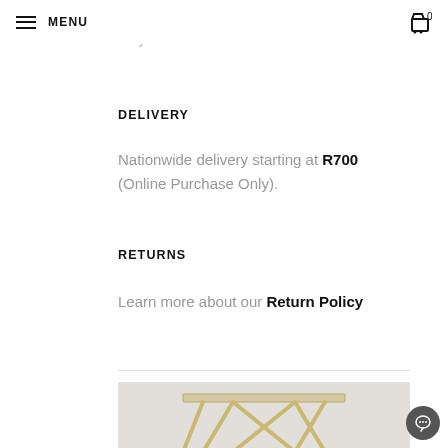MENU
Delivery times vary.
DELIVERY
Nationwide delivery starting at R700 (Online Purchase Only).
RETURNS
Learn more about our Return Policy
[Figure (photo): A geometric side table with gold/brass X-frame legs and a glass or marble top, photographed against a light grey textured wall.]